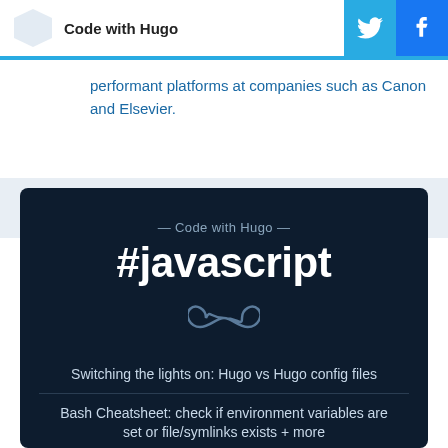Code with Hugo
performant platforms at companies such as Canon and Elsevier.
[Figure (infographic): Dark navy card with '— Code with Hugo —' tagline, '#javascript' large title, infinity symbol icon, and two article links separated by dividers: 'Switching the lights on: Hugo vs Hugo config files' and 'Bash Cheatsheet: check if environment variables are set or file/symlinks exists + more']